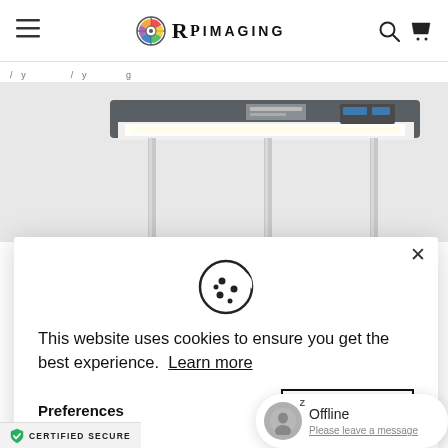[Figure (logo): RPimaging logo with crosshair/color wheel icon and text 'RPimaging']
[Figure (photo): Product photo of a light viewing box / color viewing station with stainless steel frame and fluorescent light, partially visible]
This website uses cookies to ensure you get the best experience.
Learn more
Preferences
Accept
Offline
Please leave a message
CERTIFIED SECURE